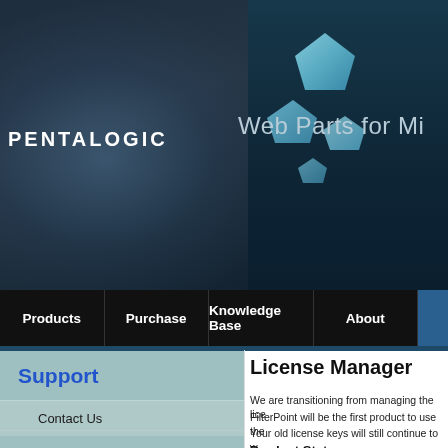[Figure (screenshot): Pentalogic website header banner with logo, pentagon shapes, and 'Web Parts for Mi...' text on dark blue/teal background]
Products | Purchase | Knowledge Base | About
Support
Contact Us
The Guarantee
Non-Profit Licensing
Licensing
License Manager
License Manager
We are transitioning from managing the lice...
FilterPoint will be the first product to use the...
Your old license keys will still continue to w...
Product Status
|  | Old "In product lice..." |
| --- | --- |